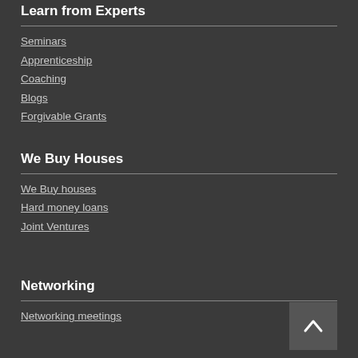Learn from Experts
Seminars
Apprenticeship
Coaching
Blogs
Forgivable Grants
We Buy Houses
We Buy houses
Hard money loans
Joint Ventures
Networking
Networking meetings